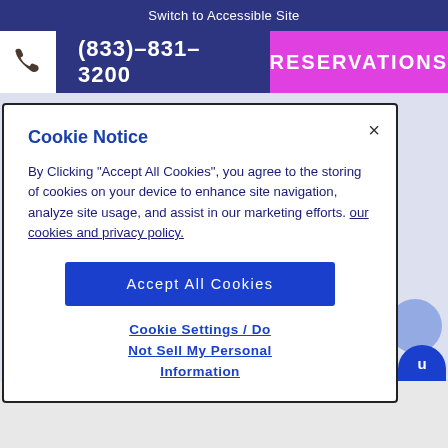Switch to Accessible Site
(833)-831-3200
RESERVATIONS
Cookie Notice
By Clicking "Accept All Cookies", you agree to the storing of cookies on your device to enhance site navigation, analyze site usage, and assist in our marketing efforts. our cookies and privacy policy.
Accept All Cookies
Cookie Settings / Do Not Sell My Personal Information